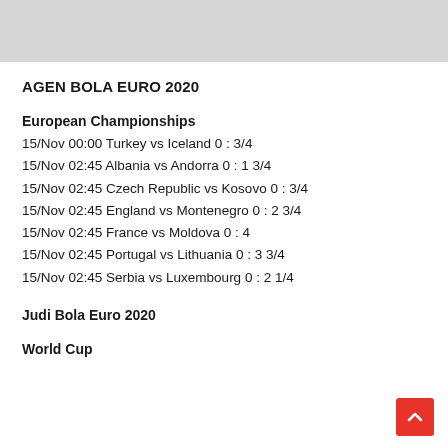[Figure (other): Gray banner/header image at top of page]
AGEN BOLA EURO 2020
European Championships
15/Nov 00:00 Turkey vs Iceland 0 : 3/4
15/Nov 02:45 Albania vs Andorra 0 : 1 3/4
15/Nov 02:45 Czech Republic vs Kosovo 0 : 3/4
15/Nov 02:45 England vs Montenegro 0 : 2 3/4
15/Nov 02:45 France vs Moldova 0 : 4
15/Nov 02:45 Portugal vs Lithuania 0 : 3 3/4
15/Nov 02:45 Serbia vs Luxembourg 0 : 2 1/4
Judi Bola Euro 2020
World Cup